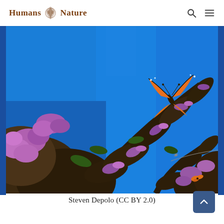Humans Nature
[Figure (photo): A monarch butterfly in flight above blooming purple butterfly bush (Buddleia) plants against a vivid blue sky. Photo credit: Steven Depolo (CC BY 2.0)]
Steven Depolo (CC BY 2.0)